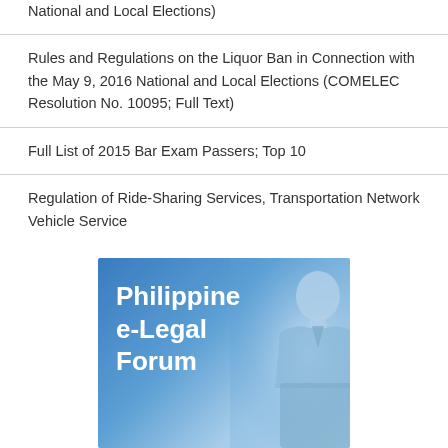National and Local Elections)
Rules and Regulations on the Liquor Ban in Connection with the May 9, 2016 National and Local Elections (COMELEC Resolution No. 10095; Full Text)
Full List of 2015 Bar Exam Passers; Top 10
Regulation of Ride-Sharing Services, Transportation Network Vehicle Service
[Figure (illustration): Promotional banner for Philippine e-Legal Forum with blue gradient background and silhouette of a person in business attire]